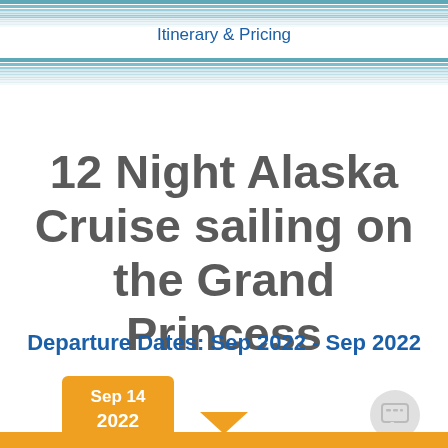Itinerary & Pricing
12 Night Alaska Cruise sailing on the Grand Princess
Departure Dates: Sep 2022 - Sep 2022
Sep 14
2022
Call us